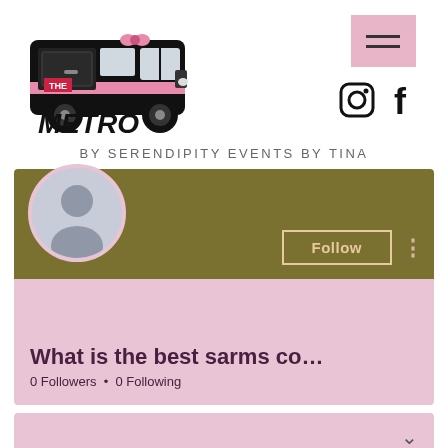[Figure (logo): The Metro food truck logo - black vintage van with 'THE METRO' text in bold, pink accent stripe]
[Figure (infographic): Pink hamburger menu button icon and Instagram and Facebook social media icons]
BY SERENDIPITY EVENTS BY TINA
[Figure (screenshot): Social media profile card with olive/dark yellow banner, Follow button, avatar placeholder, profile name 'What is the best sarms co...', 0 Followers, 0 Following on pink background]
What is the best sarms co...
0 Followers • 0 Following